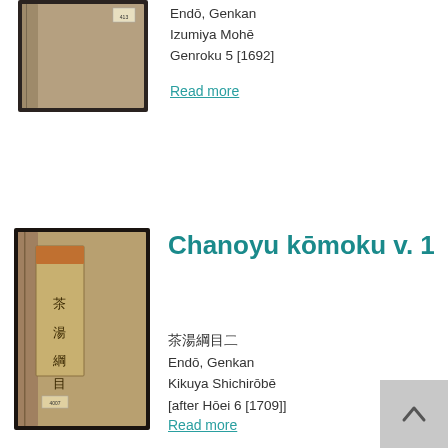[Figure (photo): Photograph of a Japanese book cover, brownish-tan, with a small label in the upper right corner.]
Endō, Genkan
Izumiya Mohē
Genroku 5 [1692]
Read more
[Figure (photo): Photograph of a Japanese book cover with vertical text label reading 茶湯綱目 (Chanoyu kōmoku), brownish-tan cover with dark border.]
Chanoyu kōmoku v. 1
茶湯綱目
Endō, Genkan
Kikuya Shichirōbē
[after Hōei 6 [1709]]
Read more